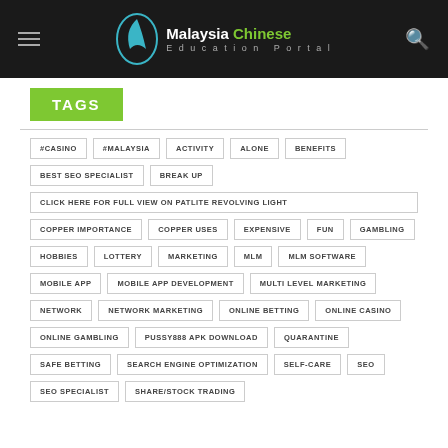Malaysia Chinese Education Portal
TAGS
#CASINO
#MALAYSIA
ACTIVITY
ALONE
BENEFITS
BEST SEO SPECIALIST
BREAK UP
CLICK HERE FOR FULL VIEW ON PATLITE REVOLVING LIGHT
COPPER IMPORTANCE
COPPER USES
EXPENSIVE
FUN
GAMBLING
HOBBIES
LOTTERY
MARKETING
MLM
MLM SOFTWARE
MOBILE APP
MOBILE APP DEVELOPMENT
MULTI LEVEL MARKETING
NETWORK
NETWORK MARKETING
ONLINE BETTING
ONLINE CASINO
ONLINE GAMBLING
PUSSY888 APK DOWNLOAD
QUARANTINE
SAFE BETTING
SEARCH ENGINE OPTIMIZATION
SELF-CARE
SEO
SEO SPECIALIST
SHARE/STOCK TRADING